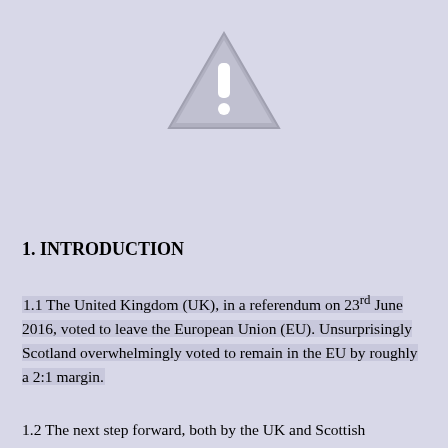[Figure (illustration): Warning triangle icon with an exclamation mark, grey color on light purple background]
1. INTRODUCTION
1.1 The United Kingdom (UK), in a referendum on 23rd June 2016, voted to leave the European Union (EU). Unsurprisingly Scotland overwhelmingly voted to remain in the EU by roughly a 2:1 margin.
1.2 The next step forward, both by the UK and Scottish Governments, hinges on what will be done with the